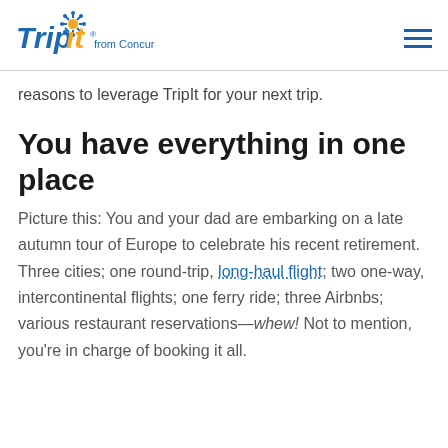TripIt from Concur
reasons to leverage TripIt for your next trip.
You have everything in one place
Picture this: You and your dad are embarking on a late autumn tour of Europe to celebrate his recent retirement. Three cities; one round-trip, long-haul flight; two one-way, intercontinental flights; one ferry ride; three Airbnbs; various restaurant reservations—whew! Not to mention, you're in charge of booking it all.